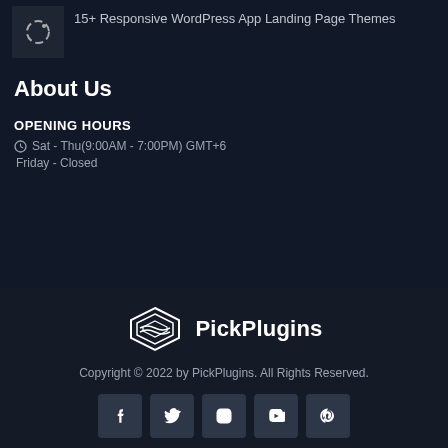[Figure (illustration): Thumbnail image with loading spinner icon on dark background, next to text about WordPress themes]
15+ Responsive WordPress App Landing Page Themes
About Us
OPENING HOURS
Sat - Thu(9:00AM - 7:00PM) GMT+6
Friday - Closed
[Figure (logo): PickPlugins logo with geometric diamond/wave shape and text PickPlugins]
Copyright © 2022 by PickPlugins. All Rights Reserved.
[Figure (other): Social media icons row: Facebook, Twitter, Instagram, YouTube, Pinterest]